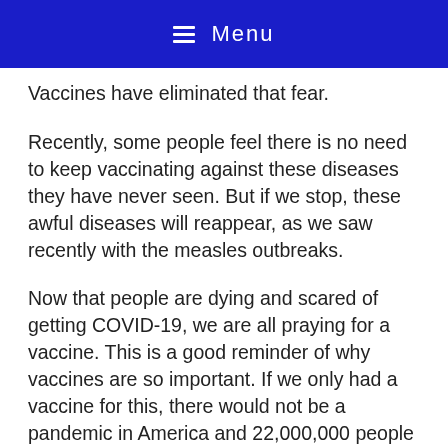☰ Menu
Vaccines have eliminated that fear.
Recently, some people feel there is no need to keep vaccinating against these diseases they have never seen. But if we stop, these awful diseases will reappear, as we saw recently with the measles outbreaks.
Now that people are dying and scared of getting COVID-19, we are all praying for a vaccine. This is a good reminder of why vaccines are so important. If we only had a vaccine for this, there would not be a pandemic in America and 22,000,000 people would be back at work, 40,000+ people and climbing would not have died from COVID-19 and thestock market would be